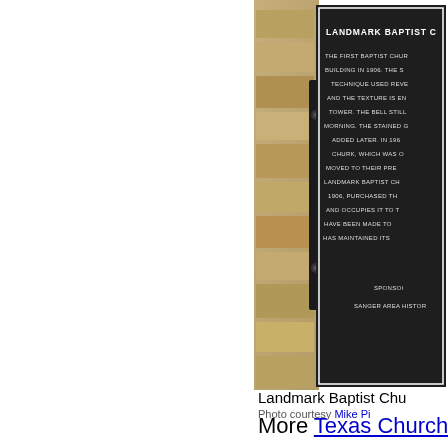[Figure (photo): Photograph of a historical landmark plaque for Landmark Baptist Church mounted on a stone wall. The dark plaque has white text describing the church's history, including the First Baptist Church building in 1906, bell tower, stained glass windows, and subsequent ownership by Landmark Baptist Church. Sponsored by Sanger Area Historical Society.]
Landmark Baptist Chu
Photo courtesy Mike Pr
More Texas Church
[Figure (photo): Partial photo of sky with clouds, bottom of page.]